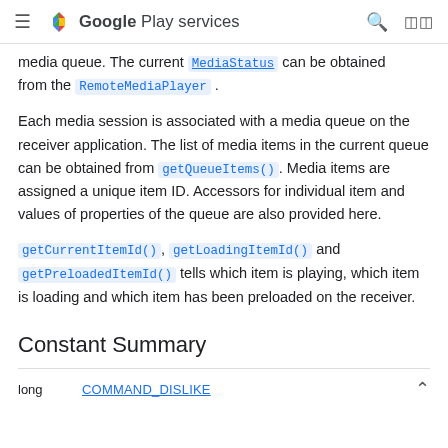Google Play services
media queue. The current MediaStatus can be obtained from the RemoteMediaPlayer.
Each media session is associated with a media queue on the receiver application. The list of media items in the current queue can be obtained from getQueueItems(). Media items are assigned a unique item ID. Accessors for individual item and values of properties of the queue are also provided here.
getCurrentItemId(), getLoadingItemId() and getPreloadedItemId() tells which item is playing, which item is loading and which item has been preloaded on the receiver.
Constant Summary
| long | COMMAND_DISLIKE |  |
| --- | --- | --- |